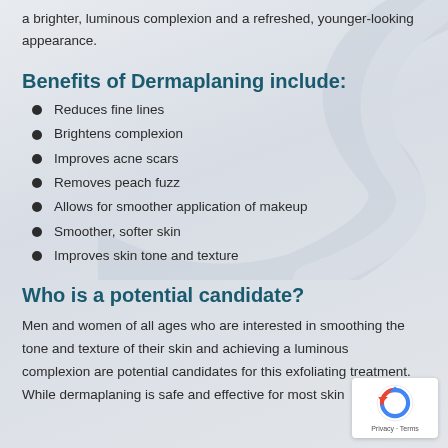a brighter, luminous complexion and a refreshed, younger-looking appearance.
Benefits of Dermaplaning include:
Reduces fine lines
Brightens complexion
Improves acne scars
Removes peach fuzz
Allows for smoother application of makeup
Smoother, softer skin
Improves skin tone and texture
Who is a potential candidate?
Men and women of all ages who are interested in smoothing the tone and texture of their skin and achieving a luminous complexion are potential candidates for this exfoliating treatment. While dermaplaning is safe and effective for most skin